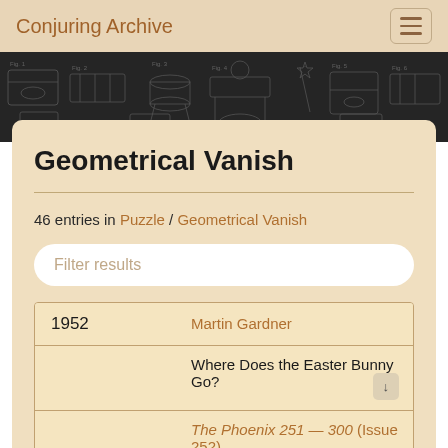Conjuring Archive
[Figure (illustration): Dark banner with faint magic/conjuring apparatus diagrams (illusion boxes, apparatus schematics) drawn in chalk-style on dark background]
Geometrical Vanish
46 entries in Puzzle / Geometrical Vanish
Filter results
| Year | Author/Title/Source |
| --- | --- |
| 1952 | Martin Gardner |
|  | Where Does the Easter Bunny Go? |
|  | The Phoenix 251 — 300 (Issue 252) |